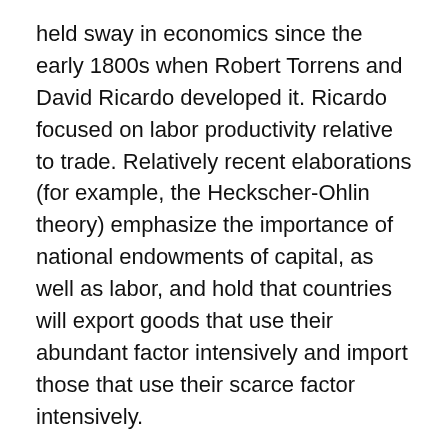held sway in economics since the early 1800s when Robert Torrens and David Ricardo developed it. Ricardo focused on labor productivity relative to trade. Relatively recent elaborations (for example, the Heckscher-Ohlin theory) emphasize the importance of national endowments of capital, as well as labor, and hold that countries will export goods that use their abundant factor intensively and import those that use their scarce factor intensively.
But comparative advantage has its weaknesses as well. It has little ability to explain why regions with similar productivity levels trade to the extent they do—why Europe and the United States, for example, trade in such great volume. Nor does it shed light on intra-industry trade: the fact that Germany and Japan will trade automobiles with one another. Indeed, much recent discussion suggests that the theory itself may have its